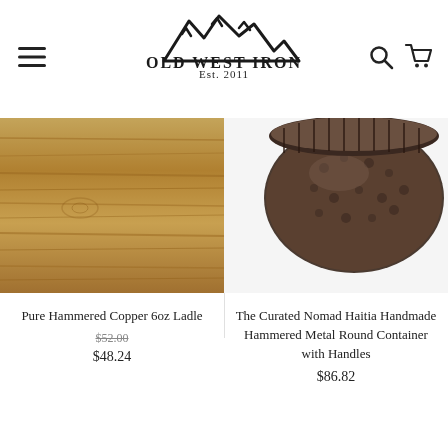[Figure (logo): Old West Iron logo with mountain silhouette and text 'OLD WEST IRON Est. 2011']
[Figure (photo): Close-up photo of a wooden surface with grain texture, representing a copper ladle product image]
Pure Hammered Copper 6oz Ladle
$52.00 (original price, strikethrough)
$48.24
[Figure (photo): Photo of a dark hammered metal round container with handles on white background]
The Curated Nomad Haitia Handmade Hammered Metal Round Container with Handles
$86.82